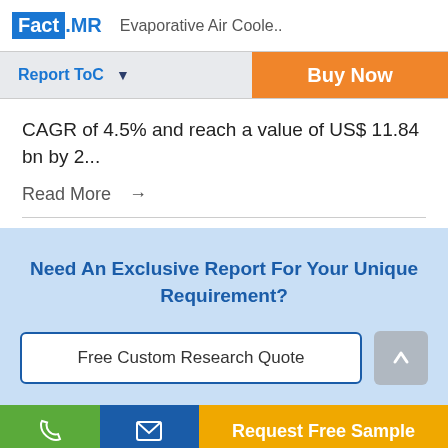Fact.MR  Evaporative Air Coole..
Report ToC
Buy Now
CAGR of 4.5% and reach a value of US$ 11.84 bn by 2...
Read More →
Need An Exclusive Report For Your Unique Requirement?
Free Custom Research Quote
Request Free Sample